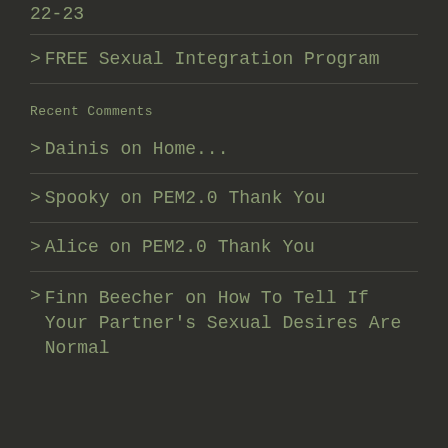22-23
> FREE Sexual Integration Program
Recent Comments
> Dainis on Home...
> Spooky on PEM2.0 Thank You
> Alice on PEM2.0 Thank You
> Finn Beecher on How To Tell If Your Partner's Sexual Desires Are Normal